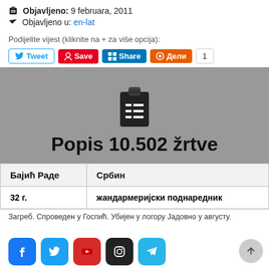📅 Objavljeno: 9 februara, 2011
🏷 Objavljeno u: en-lat
Podijelite vijest (kliknite na + za više opcija):
[Figure (screenshot): Social share buttons: Tweet, Save, Share, Дели, count 1]
[Figure (illustration): Grey banner with clipboard icon and title 'Popis 10.502 žrtve']
| Бајић Раде | Србин |
| --- | --- |
| 32 г. | жандармеријски поднаредник |
Загреб. Спроведен у Госпић. Убијен у логору Јадовно у августу.
[Figure (screenshot): Footer social icons: Facebook, Twitter, YouTube, Instagram, Telegram]